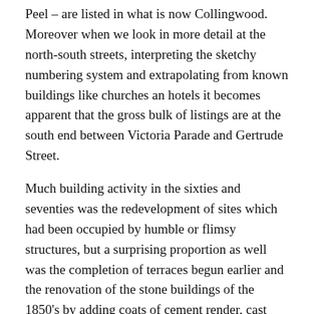Peel – are listed in what is now Collingwood. Moreover when we look in more detail at the north-south streets, interpreting the sketchy numbering system and extrapolating from known buildings like churches an hotels it becomes apparent that the gross bulk of listings are at the south end between Victoria Parade and Gertrude Street.
Much building activity in the sixties and seventies was the redevelopment of sites which had been occupied by humble or flimsy structures, but a surprising proportion as well was the completion of terraces begun earlier and the renovation of the stone buildings of the 1850's by adding coats of cement render, cast iron balconies and verandahs and even extra storeys" (South Fitzroy Conservation study 1979, p.17)